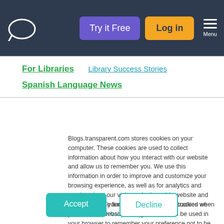[Figure (logo): Transparent Language logo (speech bubble outline) in white on dark navy background, with 'Try it Free' purple button and 'Log in' yellow button, and hamburger Menu icon]
For Libraries
Library Success Stories
Spanish Language News
Blogs.transparent.com stores cookies on your computer. These cookies are used to collect information about how you interact with our website and allow us to remember you. We use this information in order to improve and customize your browsing experience, as well as for analytics and metrics about our visitors - both on this website and other media. To find out more about the cookies we use, see our Privacy Policy.
If you decline, your information won't be tracked when you visit this website. A single cookie will be used in your browser to remember your preference not to be tracked.
Accept   Decline